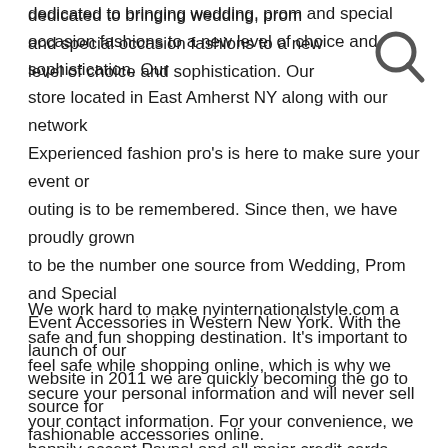dedicated to bringing wedding, prom and special occasion fashions to a new level of choice and sophistication. Our store located in East Amherst NY along with our network Experienced fashion pro's is here to make sure your event or outing is to be remembered. Since then, we have proudly grown to be the number one source from Wedding, Prom and Special Event Accessories in Western New York. With the launch of our website in 2011 we are quickly becoming the go to source for fashionable accessories online.
[Figure (other): Search icon (magnifying glass) in top right corner]
We work hard to make nyinternationalstyle.com a safe and fun shopping destination. It's important to feel safe while shopping online, which is why we secure your personal information and will never sell your contact information. For your convenience, we happily accept Paypal and all major credit cards.